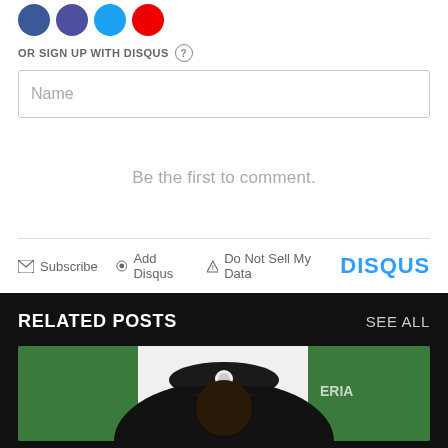[Figure (other): Social media icon buttons: Facebook (blue circle), Google+ (dark blue circle), Twitter (light blue circle), YouTube (red circle)]
OR SIGN UP WITH DISQUS ?
Name
Be the first to comment.
Subscribe  Add Disqus  Do Not Sell My Data  DISQUS
RELATED POSTS
SEE ALL
[Figure (photo): Person wearing a black military beret with a badge, in front of a Nigerian flag]